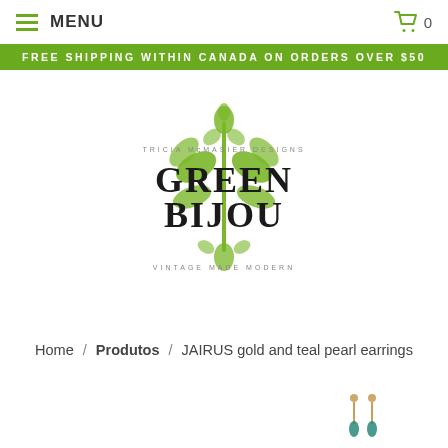MENU   🛒 0
FREE SHIPPING WITHIN CANADA ON ORDERS OVER $50
[Figure (logo): Green Bijou logo — Tricia McMaster Designs, Green Bijou, Vintage Made Modern, with decorative green botanical ornament]
Home / Produtos / JAIRUS gold and teal pearl earrings
[Figure (photo): Small photo of JAIRUS gold and teal pearl earrings in bottom right corner]